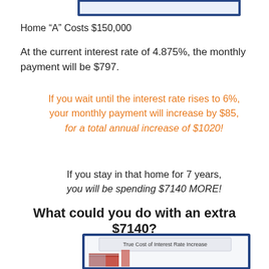[Figure (other): Top partial image strip with blue border — top edge of a financial graphic]
Home “A” Costs $150,000
At the current interest rate of 4.875%, the monthly payment will be $797.
If you wait until the interest rate rises to 6%, your monthly payment will increase by $85, for a total annual increase of $1020!
If you stay in that home for 7 years, you will be spending $7140 MORE!
What could you do with an extra $7140?
[Figure (other): Bottom partial image — blue-bordered chart titled 'True Cost of Interest Rate Increase', partially visible]